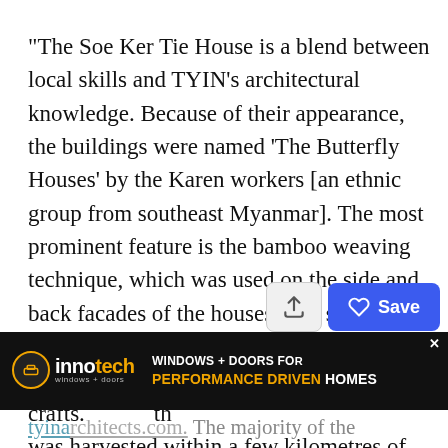"The Soe Ker Tie House is a blend between local skills and TYIN's architectural knowledge. Because of their appearance, the buildings were named 'The Butterfly Houses' by the Karen workers [an ethnic group from southeast Myanmar]. The most prominent feature is the bamboo weaving technique, which was used on the side and back facades of the houses. The same technique can be found within the construction of the local houses and crafts. th was harvested within a few kilometres of the site,"
[Figure (screenshot): UI overlay showing an upload/share button and a blue Save button with heart icon]
[Figure (screenshot): Innotech windows and doors advertisement banner: black background, logo on left, text 'WINDOWS + DOORS FOR PERFORMANCE DRIVEN HOMES' in white and orange]
tyinarchitects.com.  The majority of the